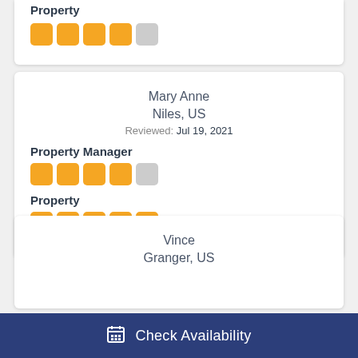Property
[Figure (other): 4 filled orange star rating, 1 empty star (top card)]
Mary Anne
Niles, US
Reviewed: Jul 19, 2021
Property Manager
[Figure (other): 4 filled orange stars, 1 empty star (Property Manager rating)]
Property
[Figure (other): 5 filled orange stars (Property rating)]
Vince
Granger, US
Check Availability